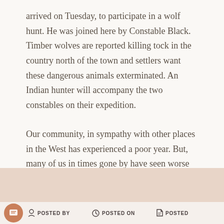arrived on Tuesday, to participate in a wolf hunt. He was joined here by Constable Black. Timber wolves are reported killing tock in the country north of the town and settlers want these dangerous animals exterminated. An Indian hunter will accompany the two constables on their expedition.
Our community, in sympathy with other places in the West has experienced a poor year. But, many of us in times gone by have seen worse days, so let us cheer up and plan for better things in the coming year.
POSTED BY   POSTED ON   POSTED